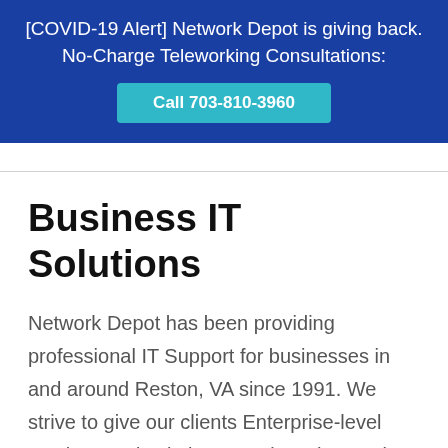[COVID-19 Alert] Network Depot is giving back. No-Charge Teleworking Consultations: Call 703-810-3960
Business IT Solutions
Network Depot has been providing professional IT Support for businesses in and around Reston, VA since 1991. We strive to give our clients Enterprise-level services and solutions at prices that work for small businesses.